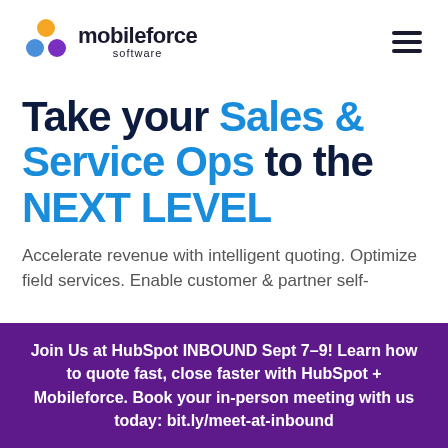mobileforce software
Take your Sales & Service Ops to the NEXT LEVEL
Accelerate revenue with intelligent quoting. Optimize field services. Enable customer & partner self-service.
Join Us at HubSpot INBOUND Sept 7–9! Learn how to quote fast, close faster with HubSpot + Mobileforce. Book your in-person meeting with us today: bit.ly/meet-at-inbound